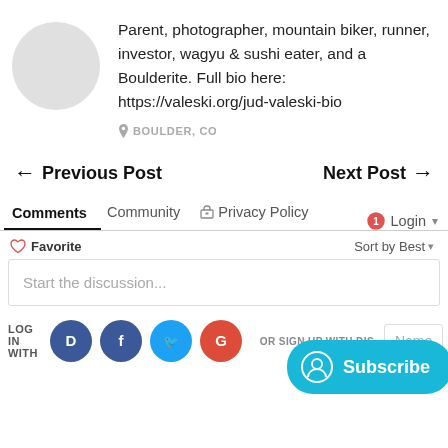Parent, photographer, mountain biker, runner, investor, wagyu & sushi eater, and a Boulderite. Full bio here: https://valeski.org/jud-valeski-bio
BOULDER, CO
← Previous Post
Next Post →
Comments
Community
Privacy Policy
Login
♡ Favorite
Sort by Best
Start the discussion...
LOG IN WITH
OR SIGN UP WITH DIS
Name
Subscribe